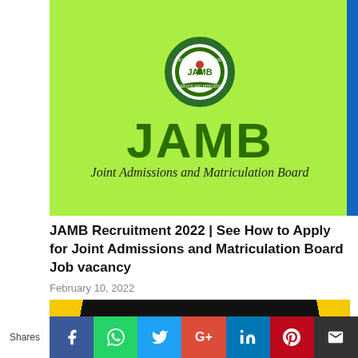[Figure (logo): JAMB (Joint Admissions and Matriculation Board) banner on lime green background with circular seal logo, large 'JAMB' text in dark green, and subtitle 'Joint Admissions and Matriculation Board' in italic]
JAMB Recruitment 2022 | See How to Apply for Joint Admissions and Matriculation Board Job vacancy
February 10, 2022
[Figure (photo): Job Vacancy at Lagos banner with black center, yellow side panels, white bold text reading 'JOB VACANCY AT LAGOS']